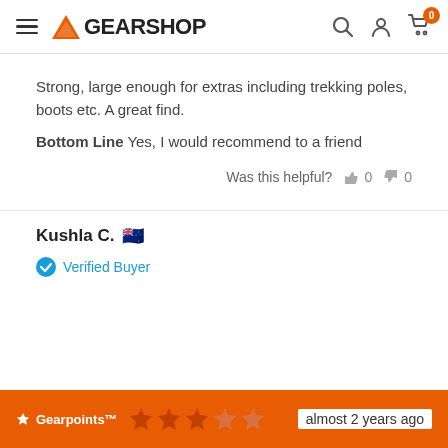GEARSHOP
Strong, large enough for extras including trekking poles, boots etc. A great find.
Bottom Line  Yes, I would recommend to a friend
Was this helpful?  0  0
Kushla C. 🇳🇿
Verified Buyer
almost 2 years ago
Gearpoints™